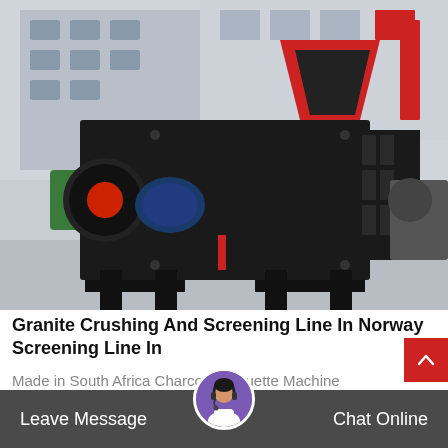[Figure (photo): Large industrial briquette/crushing machine, black metal frame with hopper on top and motor, sitting in a factory/warehouse setting outdoors]
Granite Crushing And Screening Line In Norway Screening Line In
Made in South Africa Charcoal Briquette Machine Directory - Offering Wholesale South African...
Leave Message   Chat Online